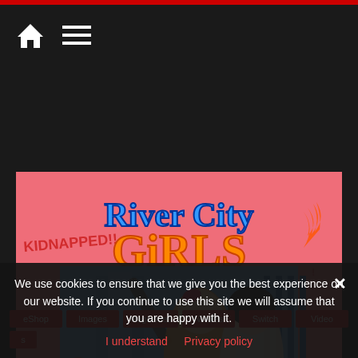Navigation header with home and menu icons
Read more
[Figure (screenshot): River City Girls game promotional banner showing two anime-style schoolgirl characters with comic book style background and logo text 'River City Girls']
We use cookies to ensure that we give you the best experience on our website. If you continue to use this site we will assume that you are happy with it.
I understand   Privacy policy
eShop   Images   Magazines   Nindies   Switch   Video